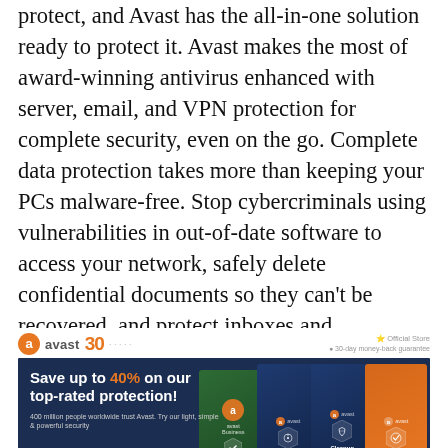protect, and Avast has the all-in-one solution ready to protect it. Avast makes the most of award-winning antivirus enhanced with server, email, and VPN protection for complete security, even on the go. Complete data protection takes more than keeping your PCs malware-free. Stop cybercriminals using vulnerabilities in out-of-date software to access your network, safely delete confidential documents so they can't be recovered, and protect inboxes and sharepoints from infection. Avast is a light and powerful antivirus with easy-to-use and friendly user interface. It protects PCs, Macs and servers by using advanced firewall, cybercapture, VPN, password manager and more.
[Figure (screenshot): Avast advertisement banner showing logo with 30th anniversary mark, 'Save up to 40% on our top-rated protection!' text, and product boxes for Avast Business, AntiVirus, Cleanup Premium, and Ultimate on dark navy background. Includes '30-day money-back guarantee' text and 'Official Store' label.]